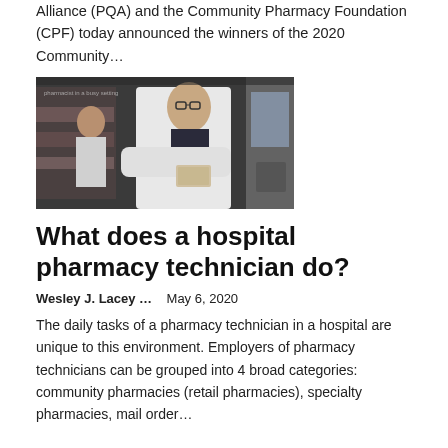Alliance (PQA) and the Community Pharmacy Foundation (CPF) today announced the winners of the 2020 Community…
[Figure (photo): A pharmacist in a white lab coat with a stethoscope reaching for medication in a pharmacy setting, with another person visible in the background.]
What does a hospital pharmacy technician do?
Wesley J. Lacey …    May 6, 2020
The daily tasks of a pharmacy technician in a hospital are unique to this environment. Employers of pharmacy technicians can be grouped into 4 broad categories: community pharmacies (retail pharmacies), specialty pharmacies, mail order…